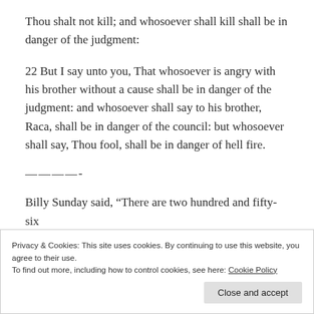Thou shalt not kill; and whosoever shall kill shall be in danger of the judgment:
22 But I say unto you, That whosoever is angry with his brother without a cause shall be in danger of the judgment: and whosoever shall say to his brother, Raca, shall be in danger of the council: but whosoever shall say, Thou fool, shall be in danger of hell fire.
————-
Billy Sunday said, “There are two hundred and fifty-six
Privacy & Cookies: This site uses cookies. By continuing to use this website, you agree to their use.
To find out more, including how to control cookies, see here: Cookie Policy